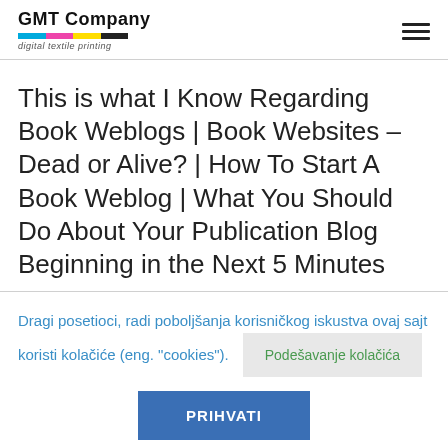GMT Company digital textile printing
This is what I Know Regarding Book Weblogs | Book Websites – Dead or Alive? | How To Start A Book Weblog | What You Should Do About Your Publication Blog Beginning in the Next 5 Minutes
Dragi posetioci, radi poboljšanja korisničkog iskustva ovaj sajt koristi kolačiće (eng. "cookies").
Podešavanje kolačića
PRIHVATI